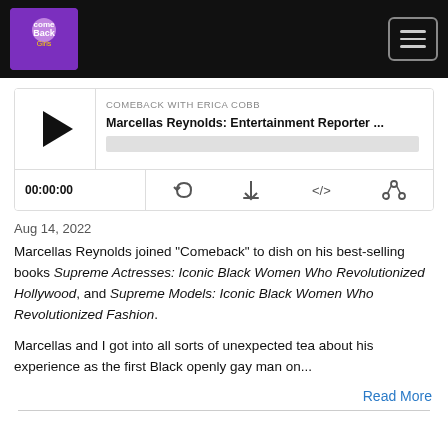[Figure (screenshot): Podcast player widget showing play button, episode title 'Marcellas Reynolds: Entertainment Reporter ...', show name 'COMEBACK WITH ERICA COBB', progress bar, time display 00:00:00, and control icons]
Aug 14, 2022
Marcellas Reynolds joined "Comeback" to dish on his best-selling books Supreme Actresses: Iconic Black Women Who Revolutionized Hollywood, and Supreme Models: Iconic Black Women Who Revolutionized Fashion.
Marcellas and I got into all sorts of unexpected tea about his experience as the first Black openly gay man on...
Read More